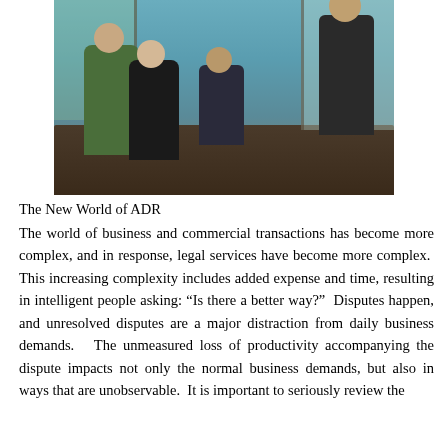[Figure (photo): Four people meeting at a long dark table in a cafe or modern office space with large windows. Three are seated and one is standing. The setting has teal/blue walls and natural light from windows showing a city street outside.]
The New World of ADR
The world of business and commercial transactions has become more complex, and in response, legal services have become more complex.  This increasing complexity includes added expense and time, resulting in intelligent people asking: “Is there a better way?”  Disputes happen, and unresolved disputes are a major distraction from daily business demands.   The unmeasured loss of productivity accompanying the dispute impacts not only the normal business demands, but also in ways that are unobservable.  It is important to seriously review the